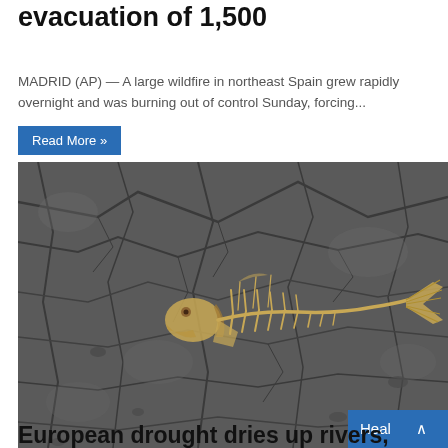evacuation of 1,500
MADRID (AP) — A large wildfire in northeast Spain grew rapidly overnight and was burning out of control Sunday, forcing...
Read More »
[Figure (photo): Dead fish skeleton lying on cracked dried earth/mud, showing drought conditions. A blue badge partially visible in bottom-right corner reading 'Heal' with an up arrow.]
2 weeks ago
European drought dries up rivers, kills fish